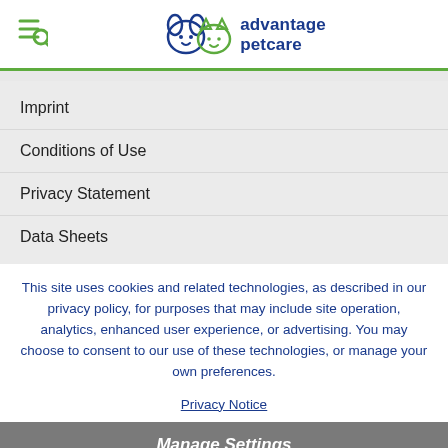advantage petcare
Imprint
Conditions of Use
Privacy Statement
Data Sheets
This site uses cookies and related technologies, as described in our privacy policy, for purposes that may include site operation, analytics, enhanced user experience, or advertising. You may choose to consent to our use of these technologies, or manage your own preferences.
Privacy Notice
Manage Settings
Accept Cookies